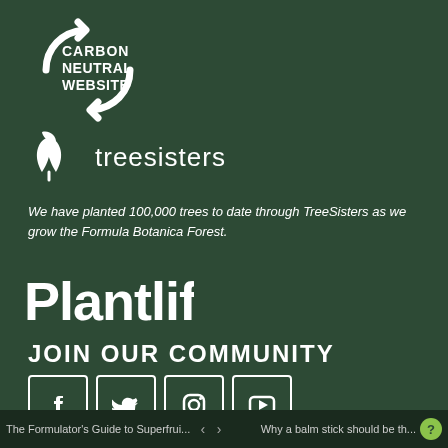[Figure (logo): Carbon Neutral Website logo — circular arrows with text CARBON NEUTRAL WEBSITE in white]
[Figure (logo): TreeSisters logo — white plant/leaf icon with text 'treesisters']
We have planted 100,000 trees to date through TreeSisters as we grow the Formula Botanica Forest.
[Figure (logo): Plantlife logo in white stylized text with plant imagery]
JOIN OUR COMMUNITY
[Figure (infographic): Four social media icons in white outlined squares: Facebook, Twitter, Instagram, YouTube]
FREE E-COURSE SIGN UP
The Formulator's Guide to Superfrui...  <  >  Why a balm stick should be th...